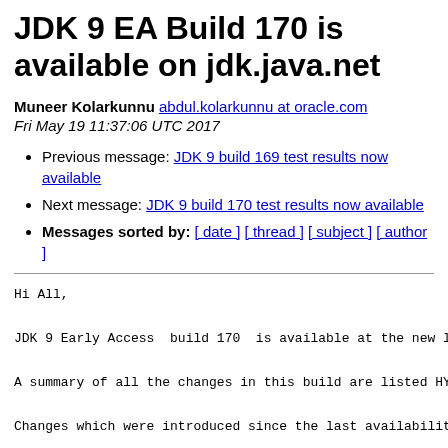JDK 9 EA Build 170 is available on jdk.java.net
Muneer Kolarkunnu abdul.kolarkunnu at oracle.com
Fri May 19 11:37:06 UTC 2017
Previous message: JDK 9 build 169 test results now available
Next message: JDK 9 build 170 test results now available
Messages sorted by: [ date ] [ thread ] [ subject ] [ author ]
Hi All,

JDK 9 Early Access  build 170  is available at the new lo

A summary of all the changes in this build are listed HYP

Changes which were introduced since the last availability

b168 - JDK-8175814: Update default HttpClient protocol ve

related to JEP 110  : HTTP/2 Client.

b169 - JDK-8178380 : Module system implementation refres